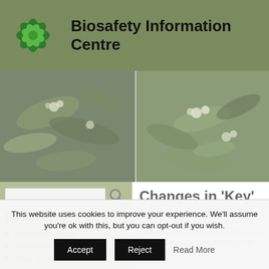Biosafety Information Centre
[Figure (photo): Two side-by-side photos of flowering plants with silver-green leaves and white flower clusters, likely saltbush or similar shrub species]
Sections
Biosafety Science
Agriculture / Organisms
Traits in Agriculture
Changes in 'Key' Species Disrupt Entire E…
This recent study shows how changes in key species can have far-reaching consequences for ecosystems, an iss…
This website uses cookies to improve your experience. We'll assume you're ok with this, but you can opt-out if you wish.